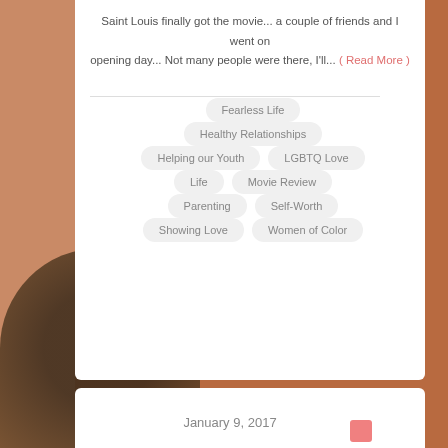Saint Louis finally got the movie... a couple of friends and I went on opening day... Not many people were there, I'll... ( Read More )
Fearless Life
Healthy Relationships
Helping our Youth
LGBTQ Love
Life
Movie Review
Parenting
Self-Worth
Showing Love
Women of Color
January 9, 2017